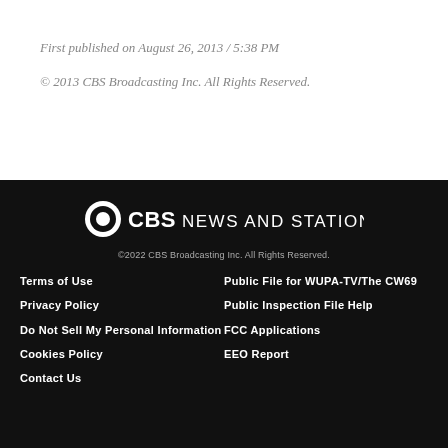First published on August 26, 2013 / 5:38 PM
© 2013 CBS Broadcasting Inc. All Rights Reserved.
[Figure (logo): CBS News and Stations logo with CBS eye icon]
©2022 CBS Broadcasting Inc. All Rights Reserved.
Terms of Use
Privacy Policy
Do Not Sell My Personal Information
Cookies Policy
Contact Us
Public File for WUPA-TV/The CW69
Public Inspection File Help
FCC Applications
EEO Report